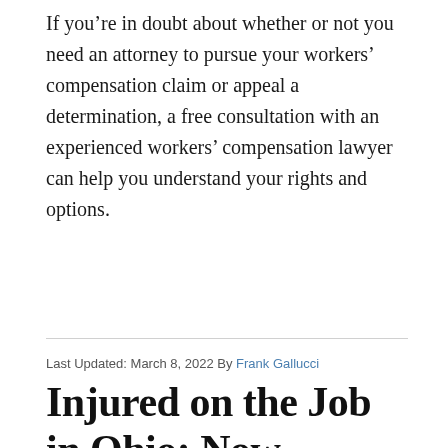If you're in doubt about whether or not you need an attorney to pursue your workers' compensation claim or appeal a determination, a free consultation with an experienced workers' compensation lawyer can help you understand your rights and options.
Last Updated: March 8, 2022 By Frank Gallucci
Injured on the Job in Ohio: Now What?
[Figure (photo): Close-up photo of a person wearing an orange/salmon colored shirt with a white arm sling or bandage visible, suggesting a workplace injury]